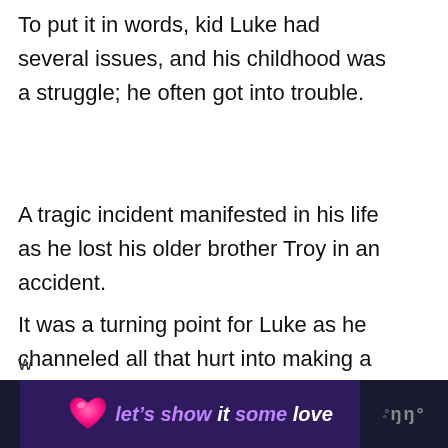To put it in words, kid Luke had several issues, and his childhood was a struggle; he often got into trouble.
A tragic incident manifested in his life as he lost his older brother Troy in an accident.
It was a turning point for Luke as he channeled all that hurt into making a career in MMA. In his words, ‘pursuing a life worthy of both of us.’
The Jedi always believed that fighting comes eas… because every New Zealander has a fighter spiri…
[Figure (other): Bottom advertisement banner with dark purple background showing 'let's show it some love' text with a pink heart icon, and a logo on the right side]